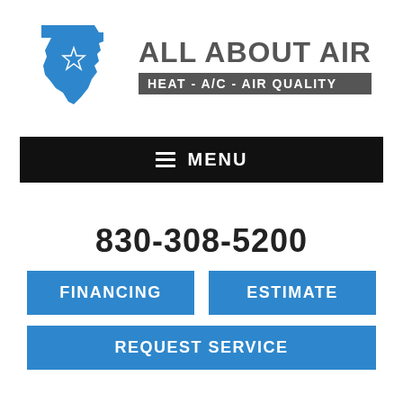[Figure (logo): All About Air logo with blue Texas state silhouette with star, company name and tagline HEAT - A/C - AIR QUALITY]
≡ MENU
830-308-5200
FINANCING
ESTIMATE
REQUEST SERVICE